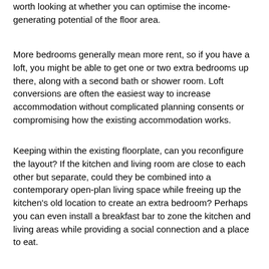worth looking at whether you can optimise the income-generating potential of the floor area.
More bedrooms generally mean more rent, so if you have a loft, you might be able to get one or two extra bedrooms up there, along with a second bath or shower room. Loft conversions are often the easiest way to increase accommodation without complicated planning consents or compromising how the existing accommodation works.
Keeping within the existing floorplate, can you reconfigure the layout? If the kitchen and living room are close to each other but separate, could they be combined into a contemporary open-plan living space while freeing up the kitchen's old location to create an extra bedroom? Perhaps you can even install a breakfast bar to zone the kitchen and living areas while providing a social connection and a place to eat.